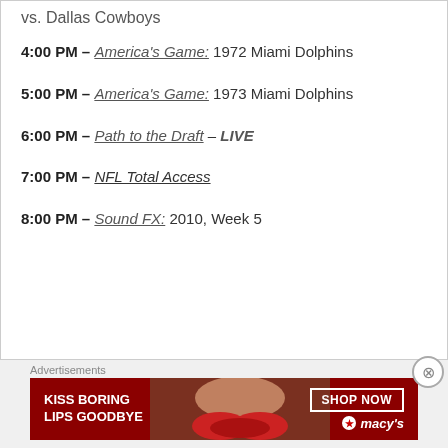vs. Dallas Cowboys
4:00 PM – America's Game: 1972 Miami Dolphins
5:00 PM – America's Game: 1973 Miami Dolphins
6:00 PM – Path to the Draft – LIVE
7:00 PM – NFL Total Access
8:00 PM – Sound FX: 2010, Week 5
[Figure (photo): Macy's advertisement banner: 'KISS BORING LIPS GOODBYE' with woman's face and red lips, SHOP NOW button and Macy's logo]